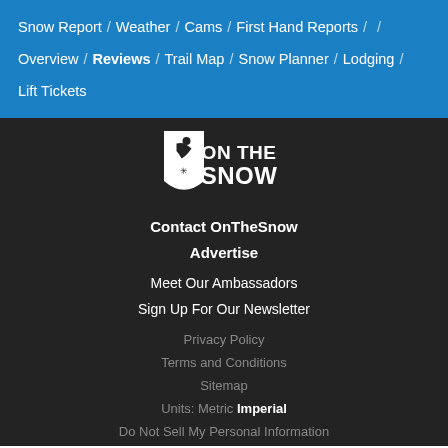Snow Report / Weather / Cams / First Hand Reports / Overview / Reviews / Trail Map / Snow Planner / Lodging / Lift Tickets
[Figure (logo): OnTheSnow logo - white shield with skier and snowflake, text ON THE SNOW]
Contact OnTheSnow
Advertise
Meet Our Ambassadors
Sign Up For Our Newsletter
Privacy Policy
Terms and Conditions
Sitemap
Units: Metric Imperial
Do Not Sell My Personal Information